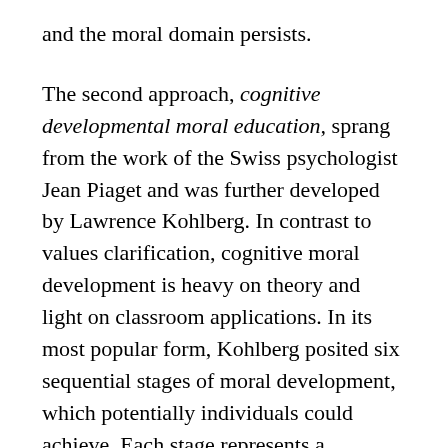and the moral domain persists.
The second approach, cognitive developmental moral education, sprang from the work of the Swiss psychologist Jean Piaget and was further developed by Lawrence Kohlberg. In contrast to values clarification, cognitive moral development is heavy on theory and light on classroom applications. In its most popular form, Kohlberg posited six sequential stages of moral development, which potentially individuals could achieve. Each stage represents a distinctive way an individual thinks about a moral situation or problem.